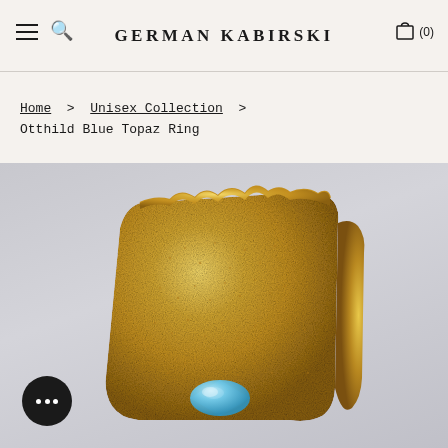GERMAN KABIRSKI
Home > Unisex Collection > Otthild Blue Topaz Ring
[Figure (photo): Close-up product photo of the Otthild Blue Topaz Ring by German Kabirski — a wide gold textured ring with rough, organic edges and a blue topaz stone set in the lower portion, photographed against a light grey background.]